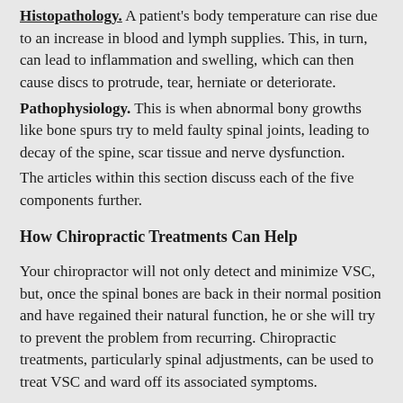Histopathology. A patient's body temperature can rise due to an increase in blood and lymph supplies. This, in turn, can lead to inflammation and swelling, which can then cause discs to protrude, tear, herniate or deteriorate.
Pathophysiology. This is when abnormal bony growths like bone spurs try to meld faulty spinal joints, leading to decay of the spine, scar tissue and nerve dysfunction.
The articles within this section discuss each of the five components further.
How Chiropractic Treatments Can Help
Your chiropractor will not only detect and minimize VSC, but, once the spinal bones are back in their normal position and have regained their natural function, he or she will try to prevent the problem from recurring. Chiropractic treatments, particularly spinal adjustments, can be used to treat VSC and ward off its associated symptoms.
To find out how chiropractic treatments can be designed to address your particular VSC-related condition, contact your practitioner.